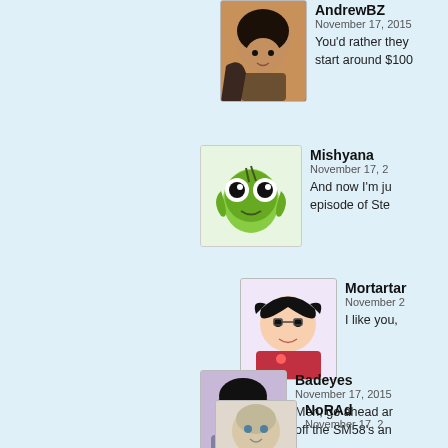AndrewBZ
November 17, 2015
You'd rather they start around $100
Mishyana
November 17, 2
And now I'm ju episode of Ste
Mortartar
November 2
I like you,
Badeyes
November 17, 2015
Meh, go ahead ar off the SM58's an
NoRAd
November 17, 2